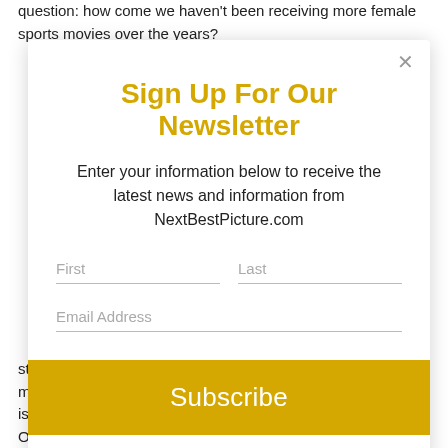question: how come we haven't been receiving more female sports movies over the years?
[Figure (screenshot): Newsletter signup modal overlay with title 'Sign Up For Our Newsletter', descriptive text, First/Last name fields, Email Address field, and a yellow Subscribe button with a close (×) button in the top right.]
still exist today, if we are going to have a full and balanced marketplace of films that represent all. "Battle Of The Sexes" is the best female led sports film since "A League Of Their Own", and